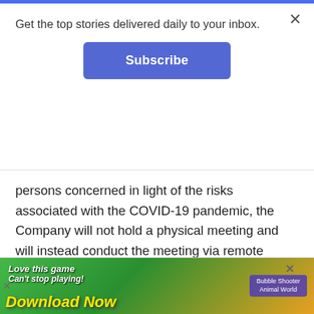Get the top stories delivered daily to your inbox.
[Figure (screenshot): Subscribe button — blue rounded rectangle with white bold text 'Subscribe']
persons concerned in light of the risks associated with the COVID-19 pandemic, the Company will not hold a physical meeting and will instead conduct the meeting via remote communication which will be livestreamed in the Company's website. Stockholders can attend the meeting by remote communication.
Stockholders who would like to attend the online meeting should access the 2022 SMC AGSM Website at https://www.sanmiguel.com.ph/ASM2022 to obtain
[Figure (screenshot): Mobile game advertisement banner: green background with 'Love this game Can't stop playing!' text and 'Download Now' in yellow, with Bubble Shooter Animal World game icon on right]